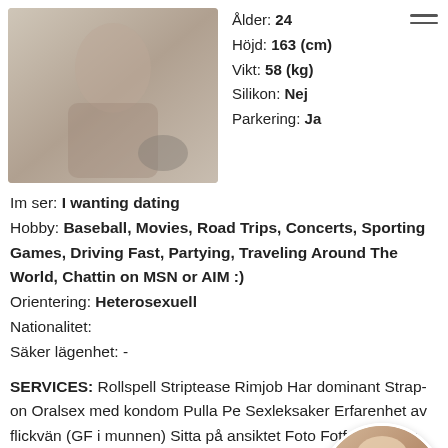[Figure (photo): Photo of a woman in black lingerie and heels on a light couch]
Ålder: 24
Höjd: 163 (cm)
Vikt: 58 (kg)
Silikon: Nej
Parkering: Ja
Im ser: I wanting dating
Hobby: Baseball, Movies, Road Trips, Concerts, Sporting Games, Driving Fast, Partying, Traveling Around The World, Chattin on MSN or AIM :)
Orientering: Heterosexuell
Nationalitet:
Säker lägenhet: -
SERVICES: Rollspell Striptease Rimjob Har dominant Strap-on Oralsex med kondom Pulla Pe Sexleksaker Erfarenhet av flickvän (GF i munnen) Sitta på ansiktet Foto Fotfetis slavar Prostatemassage Anal stretching De (djunt i halsen) Fista Duscha tillsammans
[Figure (photo): Circular avatar photo of a woman with light hair in black clothing]